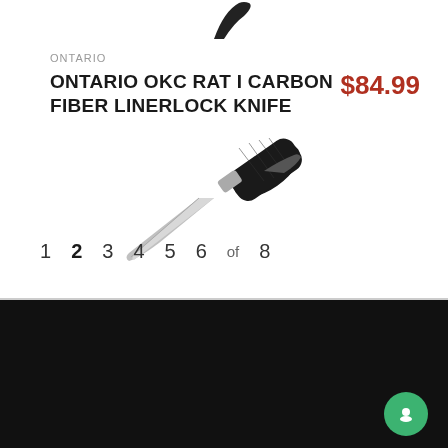[Figure (logo): Partial dark logo/wing shape at top center]
ONTARIO
ONTARIO OKC RAT I CARBON FIBER LINERLOCK KNIFE
$84.99
[Figure (photo): Ontario OKC RAT I folding knife with black carbon fiber handle and silver blade, shown diagonally]
1  2  3  4  5  6  of  8
COMPANY
ABOUT CANADA AMMO
DEALERS